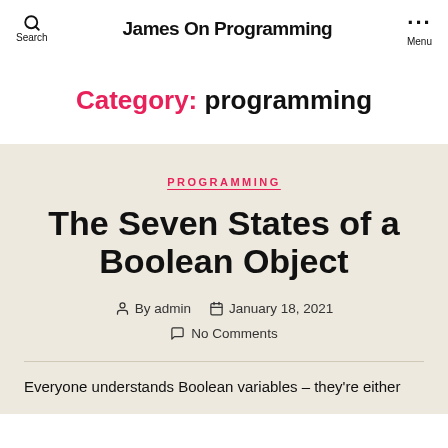James On Programming
Category: programming
PROGRAMMING
The Seven States of a Boolean Object
By admin   January 18, 2021   No Comments
Everyone understands Boolean variables – they're either